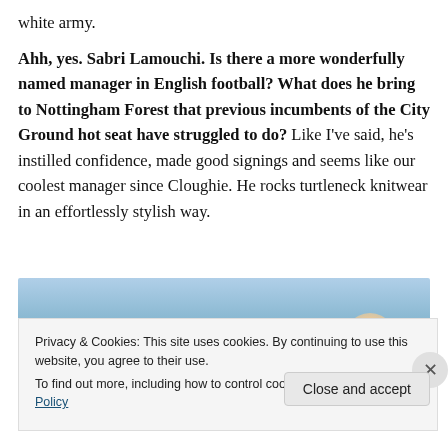white army. Ahh, yes. Sabri Lamouchi. Is there a more wonderfully named manager in English football? What does he bring to Nottingham Forest that previous incumbents of the City Ground hot seat have struggled to do? Like I've said, he's instilled confidence, made good signings and seems like our coolest manager since Cloughie. He rocks turtleneck knitwear in an effortlessly stylish way.
[Figure (photo): Partial photo of a person outdoors with blue sky background, partially obscured by cookie consent banner]
Privacy & Cookies: This site uses cookies. By continuing to use this website, you agree to their use. To find out more, including how to control cookies, see here: Cookie Policy
Close and accept